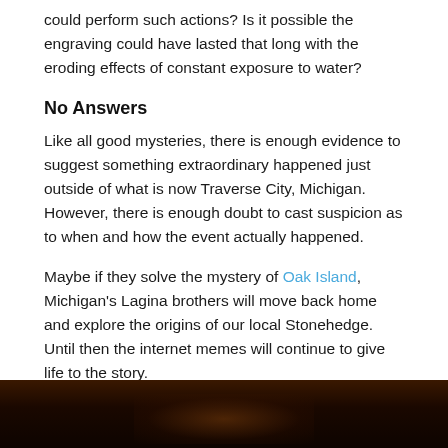could perform such actions? Is it possible the engraving could have lasted that long with the eroding effects of constant exposure to water?
No Answers
Like all good mysteries, there is enough evidence to suggest something extraordinary happened just outside of what is now Traverse City, Michigan. However, there is enough doubt to cast suspicion as to when and how the event actually happened.
Maybe if they solve the mystery of Oak Island, Michigan's Lagina brothers will move back home and explore the origins of our local Stonehedge. Until then the internet memes will continue to give life to the story.
[Figure (photo): Dark photograph, appears to show a dimly lit scene with warm orange/brown tones, bottom portion visible at the edge of the page.]